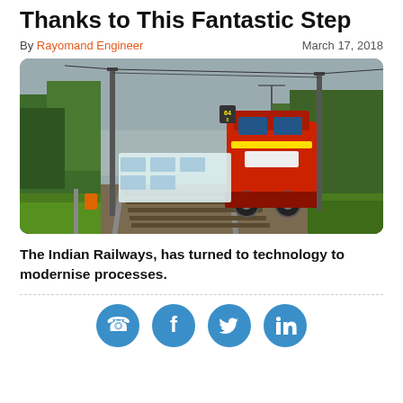Thanks to This Fantastic Step
By Rayomand Engineer    March 17, 2018
[Figure (photo): A red Indian Railways locomotive pulling blue passenger coaches on a track through green vegetation, with overhead electric lines and wooden poles, taken from a low angle.]
The Indian Railways, has turned to technology to modernise processes.
[Figure (infographic): Four circular social media share buttons: WhatsApp, Facebook, Twitter, LinkedIn — all in steel blue color.]